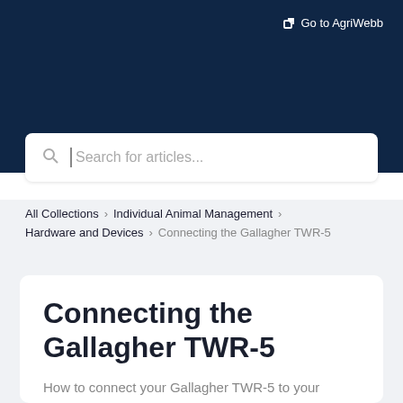Go to AgriWebb
[Figure (screenshot): Search bar with placeholder text 'Search for articles...' and a search icon on a dark navy background]
All Collections > Individual Animal Management > Hardware and Devices > Connecting the Gallagher TWR-5
Connecting the Gallagher TWR-5
How to connect your Gallagher TWR-5 to your AgriWebb Mobile App